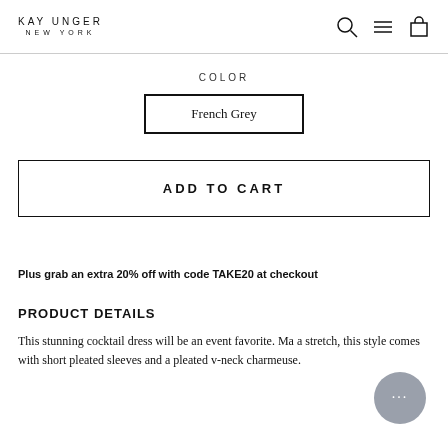KAY UNGER NEW YORK
COLOR
French Grey
ADD TO CART
Plus grab an extra 20% off with code TAKE20 at checkout
PRODUCT DETAILS
This stunning cocktail dress will be an event favorite. Made with a stretch, this style comes with short pleated sleeves and a pleated v-neck charmeuse.